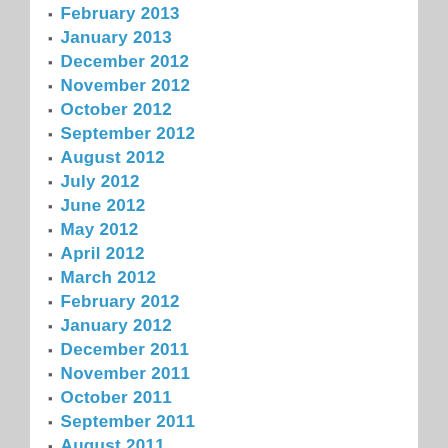February 2013
January 2013
December 2012
November 2012
October 2012
September 2012
August 2012
July 2012
June 2012
May 2012
April 2012
March 2012
February 2012
January 2012
December 2011
November 2011
October 2011
September 2011
August 2011
July 2011